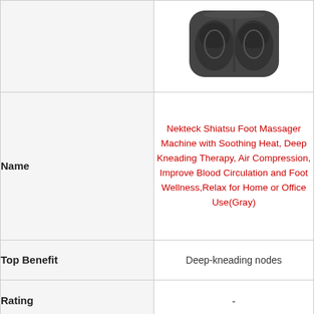[Figure (photo): Top-down view of a dark gray Nekteck Shiatsu Foot Massager Machine showing two foot pockets]
| Name | Nekteck Shiatsu Foot Massager Machine with Soothing Heat, Deep Kneading Therapy, Air Compression, Improve Blood Circulation and Foot Wellness,Relax for Home or Office Use(Gray) |
| Top Benefit | Deep-kneading nodes |
| Rating | - |
| Check Latest Price | 🛒 Buy on Amazon |